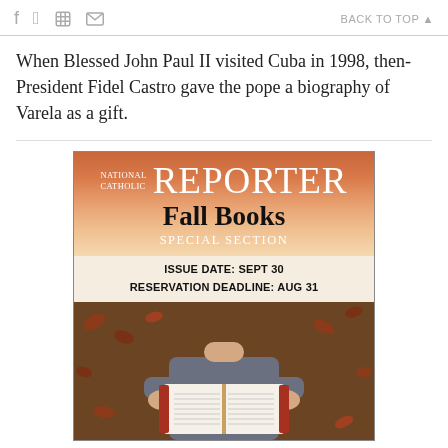f  [twitter]  [print]  [email]   BACK TO TOP ▲
When Blessed John Paul II visited Cuba in 1998, then-President Fidel Castro gave the pope a biography of Varela as a gift.
[Figure (illustration): National Catholic Reporter advertisement for Fall Books Special Section. Orange gradient header with NATIONAL CATHOLIC REPORTER masthead and 'Fall Books SPECIAL SECTION' text. Below: 'ISSUE DATE: SEPT 30' and 'RESERVATION DEADLINE: AUG 31'. Photo of person holding open book against autumn leaves background.]